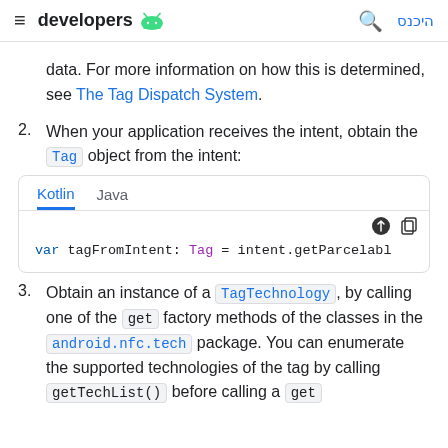developers [android logo] | [search] היכנס
data. For more information on how this is determined, see The Tag Dispatch System.
2. When your application receives the intent, obtain the Tag object from the intent:
[Figure (screenshot): Code block with Kotlin and Java tabs showing: var tagFromIntent: Tag = intent.getParcelabl]
3. Obtain an instance of a TagTechnology, by calling one of the get factory methods of the classes in the android.nfc.tech package. You can enumerate the supported technologies of the tag by calling getTechList() before calling a get